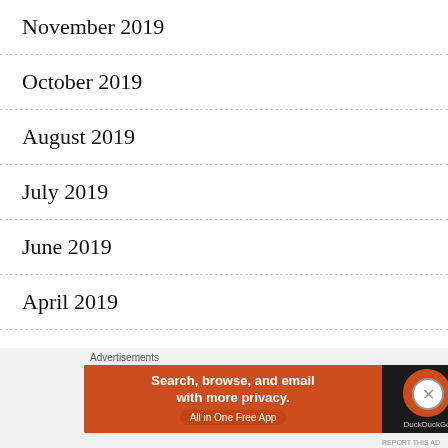November 2019
October 2019
August 2019
July 2019
June 2019
April 2019
February 2019
January 2019
Advertisements
[Figure (other): DuckDuckGo advertisement banner: Search, browse, and email with more privacy. All in One Free App. DuckDuckGo logo on dark background.]